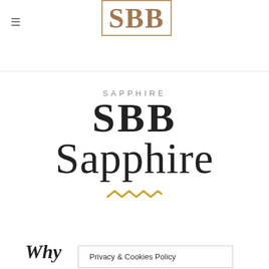[Figure (logo): SBB Sapphire logo with decorative border, showing SBB letters in bronze/gold color inside a rectangular border]
SAPPHIRE
SBB
Sapphire
[Figure (illustration): Decorative zigzag/wave ornament in gold color]
Why
Privacy & Cookies Policy